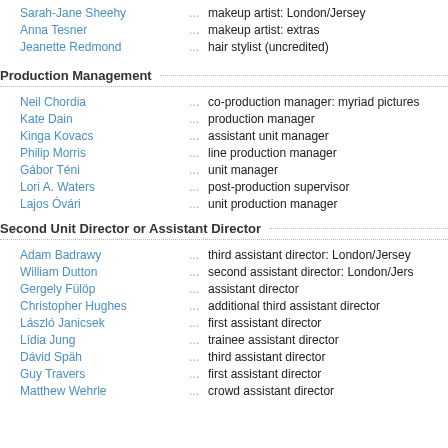Sarah-Jane Sheehy ... makeup artist: London/Jersey
Anna Tesner ... makeup artist: extras
Jeanette Redmond ... hair stylist (uncredited)
Production Management
Neil Chordia ... co-production manager: myriad pictures
Kate Dain ... production manager
Kinga Kovacs ... assistant unit manager
Philip Morris ... line production manager
Gábor Téni ... unit manager
Lori A. Waters ... post-production supervisor
Lajos Óvári ... unit production manager
Second Unit Director or Assistant Director
Adam Badrawy ... third assistant director: London/Jersey
William Dutton ... second assistant director: London/Jers
Gergely Fülöp ... assistant director
Christopher Hughes ... additional third assistant director
László Janicsek ... first assistant director
Lídia Jung ... trainee assistant director
Dávid Späh ... third assistant director
Guy Travers ... first assistant director
Matthew Wehrle ... crowd assistant director